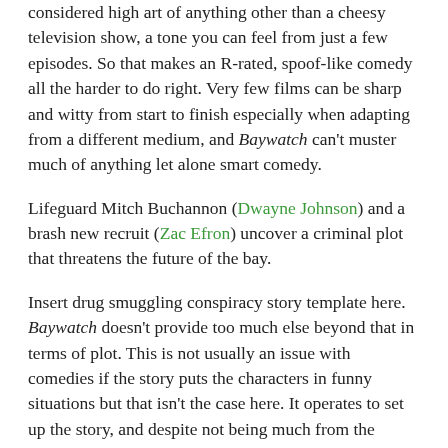considered high art of anything other than a cheesy television show, a tone you can feel from just a few episodes. So that makes an R-rated, spoof-like comedy all the harder to do right. Very few films can be sharp and witty from start to finish especially when adapting from a different medium, and Baywatch can't muster much of anything let alone smart comedy.
Lifeguard Mitch Buchannon (Dwayne Johnson) and a brash new recruit (Zac Efron) uncover a criminal plot that threatens the future of the bay.
Insert drug smuggling conspiracy story template here. Baywatch doesn't provide too much else beyond that in terms of plot. This is not usually an issue with comedies if the story puts the characters in funny situations but that isn't the case here. It operates to set up the story, and despite not being much from the beginning, still feels hollow.
No film is completely, 100% awful and in this instance, the bright spots are Zac Efron and Dwayne Johnson. They have tremendous chemistry and comedic timing together but even that doesn't help much as the material given is so sub-par. The other characters are